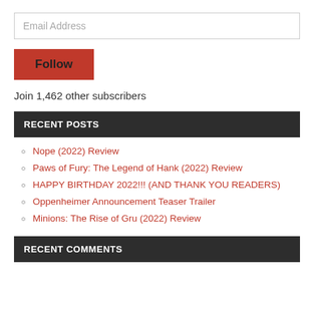Email Address
Follow
Join 1,462 other subscribers
RECENT POSTS
Nope (2022) Review
Paws of Fury: The Legend of Hank (2022) Review
HAPPY BIRTHDAY 2022!!! (AND THANK YOU READERS)
Oppenheimer Announcement Teaser Trailer
Minions: The Rise of Gru (2022) Review
RECENT COMMENTS